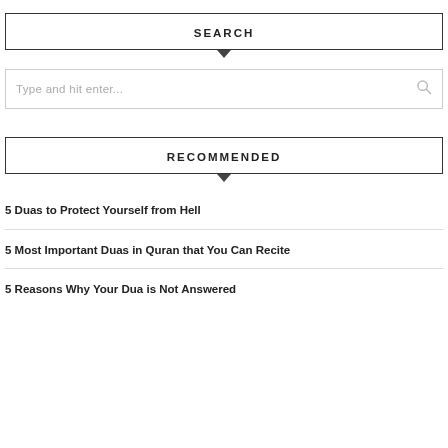SEARCH
Type and hit enter...
RECOMMENDED
5 Duas to Protect Yourself from Hell
5 Most Important Duas in Quran that You Can Recite
5 Reasons Why Your Dua is Not Answered